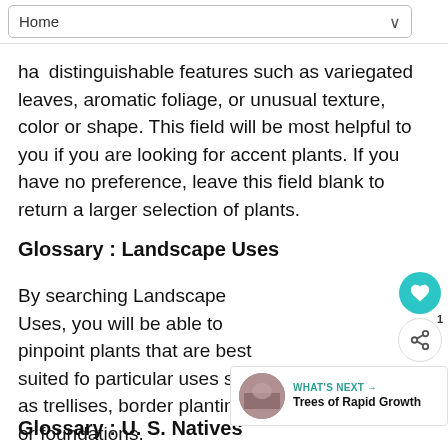Home
have distinguishable features such as variegated leaves, aromatic foliage, or unusual texture, color or shape. This field will be most helpful to you if you are looking for accent plants. If you have no preference, leave this field blank to return a larger selection of plants.
Glossary : Landscape Uses
By searching Landscape Uses, you will be able to pinpoint plants that are best suited for particular uses such as trellises, border plantings, or foundations.
Glossary : U. S. Natives